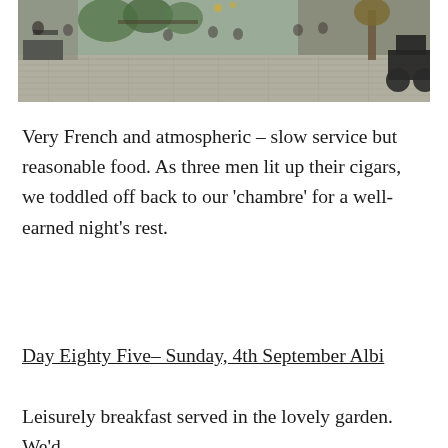[Figure (photo): Outdoor café/restaurant scene in a French town square with cobblestones, people seated at tables, trees, and a motorcycle parked on the right]
Very French and atmospheric – slow service but reasonable food. As three men lit up their cigars, we toddled off back to our 'chambre' for a well-earned night's rest.
Day Eighty Five– Sunday, 4th September Albi
Leisurely breakfast served in the lovely garden. We'd